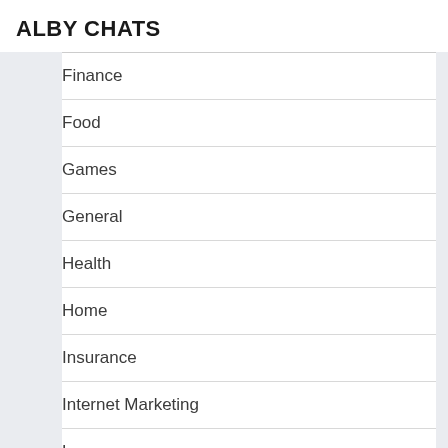ALBY CHATS
Finance
Food
Games
General
Health
Home
Insurance
Internet Marketing
Law
Marketing